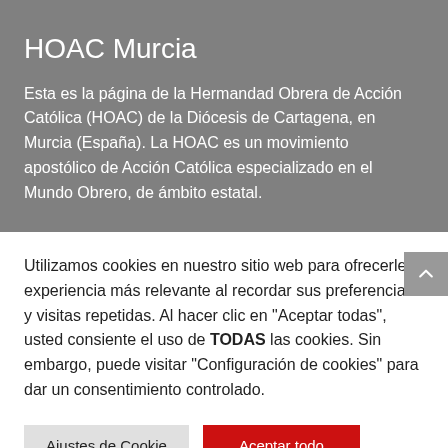HOAC Murcia
Esta es la página de la Hermandad Obrera de Acción Católica (HOAC) de la Diócesis de Cartagena, en Murcia (España). La HOAC es un movimiento apostólico de Acción Católica especializado en el Mundo Obrero, de ámbito estatal.
Utilizamos cookies en nuestro sitio web para ofrecerle la experiencia más relevante al recordar sus preferencias y visitas repetidas. Al hacer clic en "Aceptar todas", usted consiente el uso de TODAS las cookies. Sin embargo, puede visitar "Configuración de cookies" para dar un consentimiento controlado.
Ajustes de Cookie
Aceptar todo